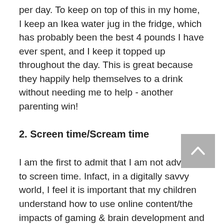per day.  To keep on top of this in my home, I keep an Ikea water jug in the fridge, which has probably been the best 4 pounds I have ever spent, and I keep it topped up throughout the day. This is great because they happily help themselves to a drink without needing me to help - another parenting win!
2. Screen time/Scream time
I am the first to admit that I am not adverse to screen time. Infact, in a digitally savvy world, I feel it is important that my children understand how to use online content/the impacts of gaming & brain development and everything else that goes with screen time. However, there is a temptation to